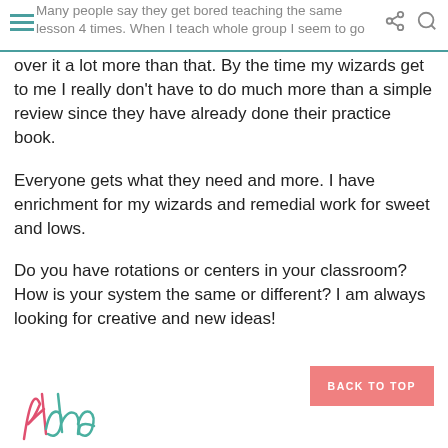Many people say they get bored teaching the same lesson 4 times.  When I teach whole group I seem to go
over it a lot more than that.  By the time my wizards get to me I really don't have to do much more than a simple review since they have already done their practice book.
Everyone gets what they need and more.  I have enrichment for my wizards and remedial work for sweet and lows.
Do you have rotations or centers in your classroom?  How is your system the same or different?  I am always looking for creative and new ideas!
[Figure (illustration): Cursive signature reading 'Aloha' in pink/red script]
BACK TO TOP